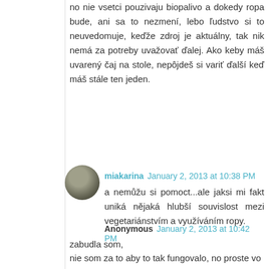no nie vsetci pouzivaju biopalivo a dokedy ropa bude, ani sa to nezmení, lebo ľudstvo si to neuvedomuje, keďže zdroj je aktuálny, tak nik nemá za potreby uvažovať ďalej. Ako keby máš uvarený čaj na stole, nepôjdeš si variť ďalší keď máš stále ten jeden.
miakarina January 2, 2013 at 10:38 PM
a nemůžu si pomoct...ale jaksi mi fakt uniká nějaká hlubší souvislost mezi vegetariánstvím a využíváním ropy.
Anonymous January 2, 2013 at 10:42 PM
zabudla som,
nie som za to aby to tak fungovalo, no proste vo svete to tak chodí.
jem mäso, nevadí mi to, prišlo by mi oveľa horšie keby som mäso nahrádzala nejakou potravou , čo v podstate ani neviem čo je. radšej budem vidieť čo mi pred nosom rastie a vychováim si to